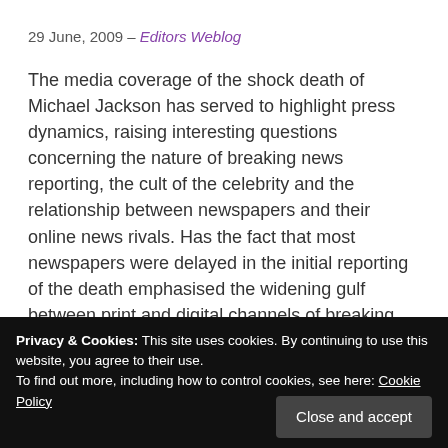29 June, 2009 – Editors Weblog
The media coverage of the shock death of Michael Jackson has served to highlight press dynamics, raising interesting questions concerning the nature of breaking news reporting, the cult of the celebrity and the relationship between newspapers and their online news rivals. Has the fact that most newspapers were delayed in the initial reporting of the death emphasised the widening gulf between print and digital channels of breaking news? Conversely, has the death been exploited by the printed press as a facile, reader guaranteeing hit?
Privacy & Cookies: This site uses cookies. By continuing to use this website, you agree to their use.
To find out more, including how to control cookies, see here: Cookie Policy